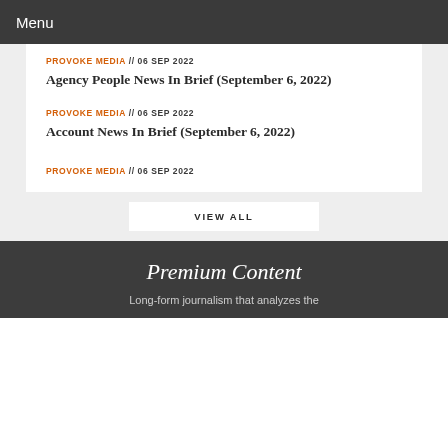Menu
PROVOKE MEDIA // 06 SEP 2022
Agency People News In Brief (September 6, 2022)
PROVOKE MEDIA // 06 SEP 2022
Account News In Brief (September 6, 2022)
PROVOKE MEDIA // 06 SEP 2022
VIEW ALL
Premium Content
Long-form journalism that analyzes the